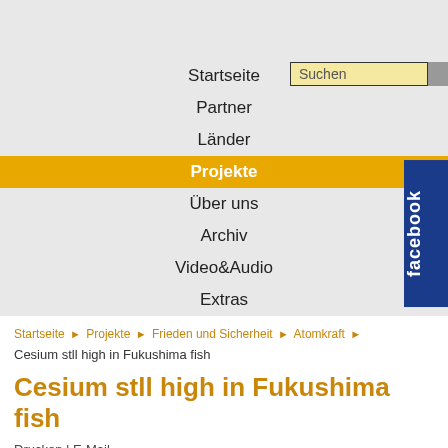Startseite
Suchen
Partner
Länder
Projekte
Über uns
Archiv
Video&Audio
Extras
Startseite ▶ Projekte ▶ Frieden und Sicherheit ▶ Atomkraft ▶
Cesium stll high in Fukushima fish
Cesium stll high in Fukushima fish
Drucken | E-Mail
Atomkraftfreies Japan